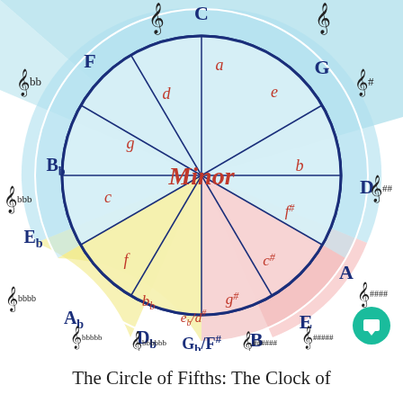[Figure (other): Circle of Fifths diagram showing major keys (dark blue) and minor keys (red) arranged in a clock-like circle. Background sectors are colored light blue (C, G, F area), yellow (Bb, Eb, Ab, Db area), and pink (D, A, E, B area). The word 'Minor' appears in red italic in the center. Lines radiate from the center to each key position. Key signatures (treble clef symbols with sharps/flats) appear around the outside. Major keys labeled in dark blue: C, G, D, A, E, B, F#/Gb, Db, Ab, Eb, Bb, F. Minor keys labeled in red: a, e, b, f#, c#, g#, eb/d#, bb, f, c, g, d.]
The Circle of Fifths: The Clock of